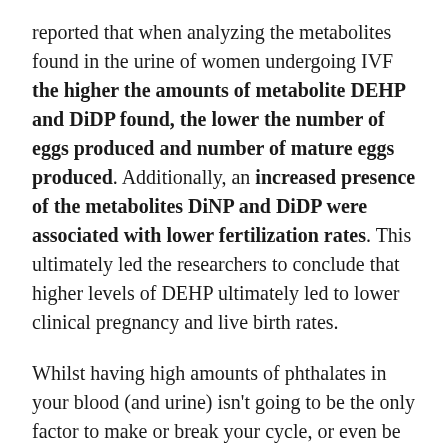reported that when analyzing the metabolites found in the urine of women undergoing IVF the higher the amounts of metabolite DEHP and DiDP found, the lower the number of eggs produced and number of mature eggs produced. Additionally, an increased presence of the metabolites DiNP and DiDP were associated with lower fertilization rates. This ultimately led the researchers to conclude that higher levels of DEHP ultimately led to lower clinical pregnancy and live birth rates.
Whilst having high amounts of phthalates in your blood (and urine) isn't going to be the only factor to make or break your cycle, or even be the major